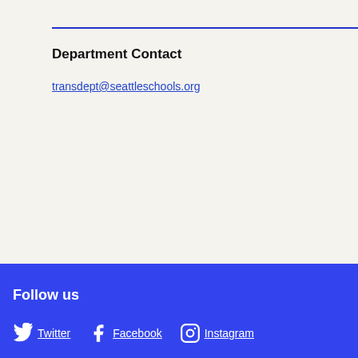Department Contact
transdept@seattleschools.org
Follow us  Twitter  Facebook  Instagram